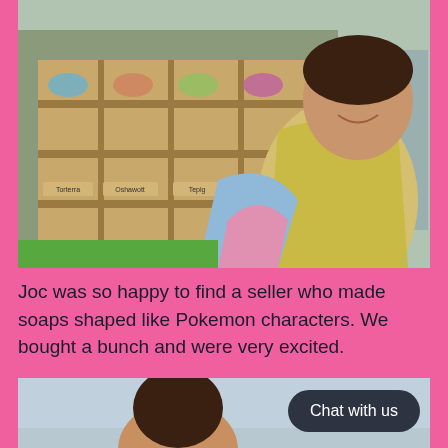[Figure (photo): A young girl with dark curly hair smiling, holding Pokemon-shaped soaps at an outdoor market stall. The stall has wooden display shelves with labeled Pokemon character soaps in clear containers. Labels visible include Torterra, Oshawott, Tepig. The girl is wearing a light blue hoodie with a pink jacket and a yellow tie-dye outer layer.]
Joc was so happy to find a seller who made soaps shaped like Pokemon characters. We bought a bunch and were very excited.
[Figure (photo): Partial view of a child with dark hair tied up, seen from behind/side, outdoors near water or a grey background.]
Chat with us